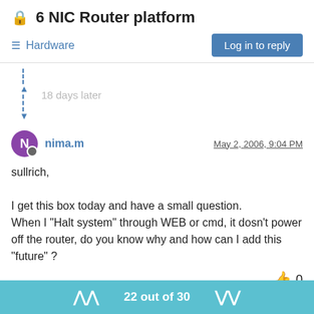6 NIC Router platform
Hardware
Log in to reply
18 days later
nima.m   May 2, 2006, 9:04 PM
sullrich,

I get this box today and have a small question.
When I "Halt system" through WEB or cmd, it dosn't power off the router, do you know why and how can I add this "future" ?
👍 0
boba   May 2, 2006, 9:18 PM
22 out of 30